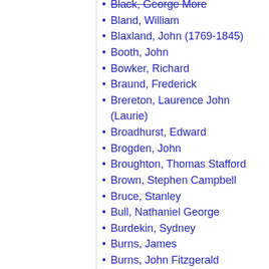Black, George More
Bland, William
Blaxland, John (1769-1845)
Booth, John
Bowker, Richard
Braund, Frederick
Brereton, Laurence John (Laurie)
Broadhurst, Edward
Brogden, John
Broughton, Thomas Stafford
Brown, Stephen Campbell
Bruce, Stanley
Bull, Nathaniel George
Burdekin, Sydney
Burns, James
Burns, John Fitzgerald
Burton, William Westbrooke
Byrnes, James
Cahill, JJ
Calwell, Arthur
Campbell, John Thomas
Campbell, Robert
Carmichael, Ambrose Campbell